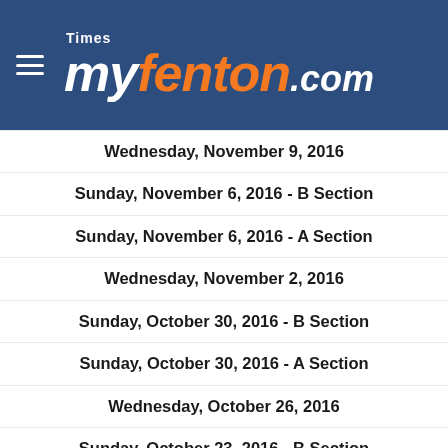Times myfenton.com
Wednesday, November 9, 2016
Sunday, November 6, 2016 - B Section
Sunday, November 6, 2016 - A Section
Wednesday, November 2, 2016
Sunday, October 30, 2016 - B Section
Sunday, October 30, 2016 - A Section
Wednesday, October 26, 2016
Sunday, October 23, 2016 - B Section
Sunday, October 23, 2016 - A Section
Wednesday, October 19, 2016
Sunday, October 16, 2016 - B Section
Sunday, October 16, 2016 - A Section
Wednesday, October 12, 2016